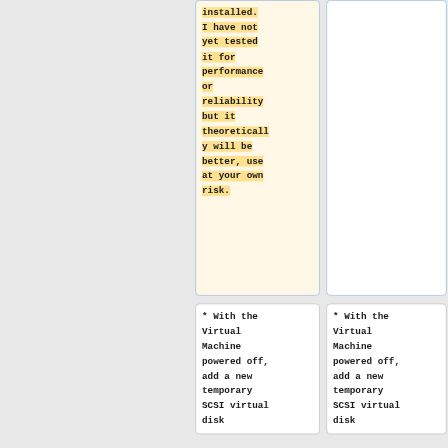installed. I have not yet tested it for performance or reliability but it theoretically will be better, use at your own risk.
* With the Virtual Machine powered off, add a new temporary SCSI virtual disk
* With the Virtual Machine powered off, add a new temporary SCSI virtual disk